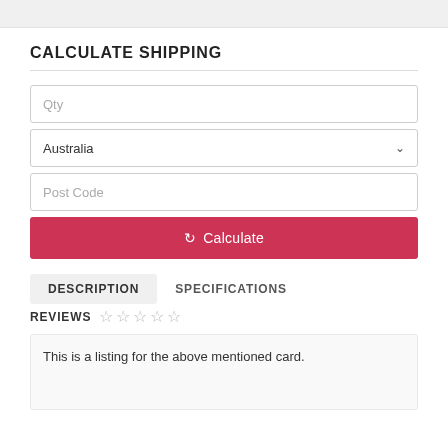CALCULATE SHIPPING
Qty
Australia
Post Code
Calculate
DESCRIPTION
SPECIFICATIONS
REVIEWS ☆ ☆ ☆ ☆ ☆
This is a listing for the above mentioned card.